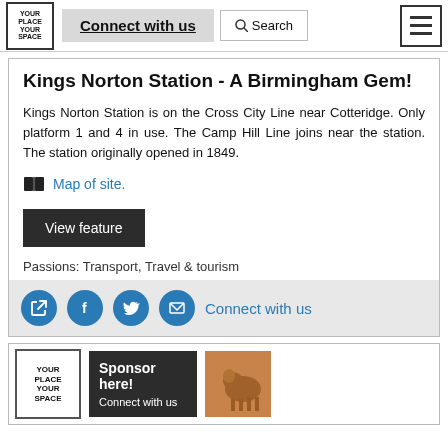Connect with us | Search
Kings Norton Station - A Birmingham Gem!
Kings Norton Station is on the Cross City Line near Cotteridge. Only platform 1 and 4 in use. The Camp Hill Line joins near the station. The station originally opened in 1849.
Map of site.
View feature
Passions: Transport, Travel & tourism
Connect with us
[Figure (screenshot): Bottom section with logo, Sponsor here! Connect with us banner, and a photo of a bronze animal sculpture]